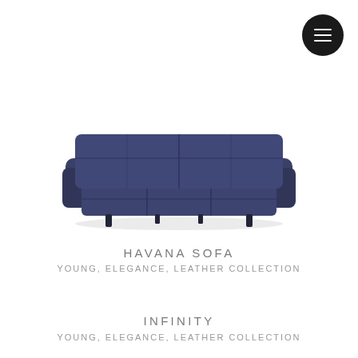[Figure (illustration): Hamburger menu icon: dark circle with three horizontal white lines, positioned top-right]
[Figure (photo): A dark navy blue tufted three-seater sofa (Havana Sofa) with low dark metal legs, viewed from the front at a slight angle, on white background]
HAVANA SOFA
YOUNG, ELEGANCE, LEATHER COLLECTION
INFINITY
YOUNG, ELEGANCE, LEATHER COLLECTION